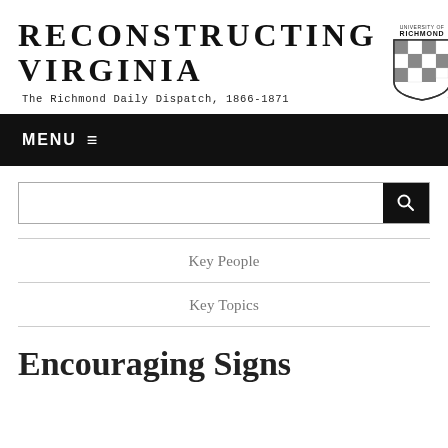RECONSTRUCTING VIRGINIA
The Richmond Daily Dispatch, 1866-1871
[Figure (logo): University of Richmond shield/crest logo with checkered pattern]
MENU ≡
Key People
Key Topics
Encouraging Signs